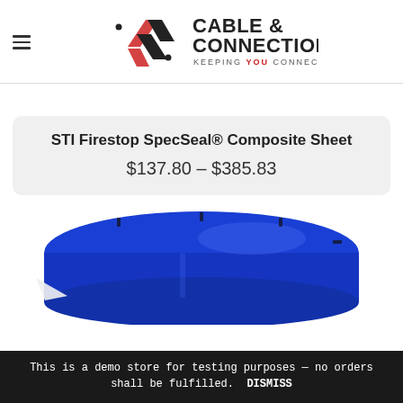Cable & Connections — Keeping You Connected
STI Firestop SpecSeal® Composite Sheet
$137.80 – $385.83
[Figure (photo): Top view of a blue circular STI Firestop SpecSeal Composite Sheet product container]
This is a demo store for testing purposes — no orders shall be fulfilled.  DISMISS